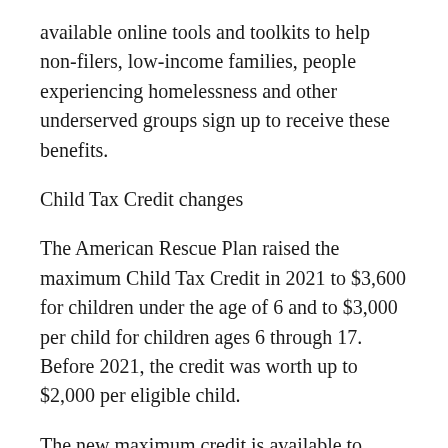available online tools and toolkits to help non-filers, low-income families, people experiencing homelessness and other underserved groups sign up to receive these benefits.
Child Tax Credit changes
The American Rescue Plan raised the maximum Child Tax Credit in 2021 to $3,600 for children under the age of 6 and to $3,000 per child for children ages 6 through 17. Before 2021, the credit was worth up to $2,000 per eligible child.
The new maximum credit is available to taxpayers with a modified adjusted gross income (AGI) of: